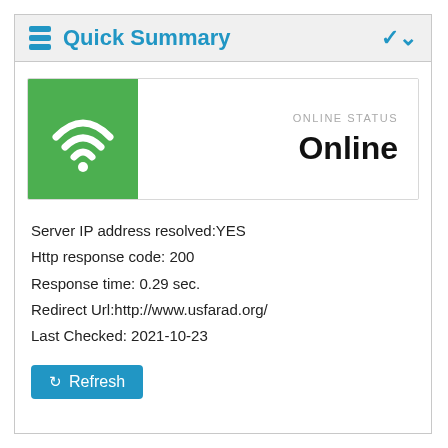Quick Summary
[Figure (infographic): Green square with white WiFi signal icon indicating online status. Shows ONLINE STATUS label and 'Online' in bold text.]
Server IP address resolved:YES
Http response code: 200
Response time: 0.29 sec.
Redirect Url:http://www.usfarad.org/
Last Checked: 2021-10-23
Refresh